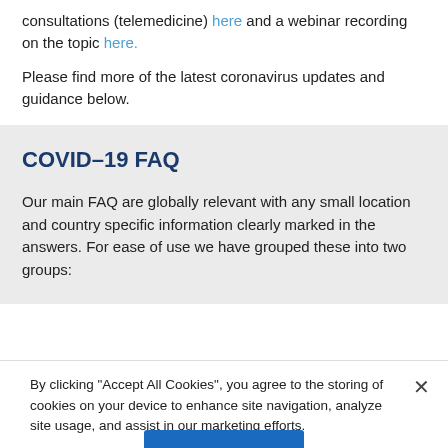consultations (telemedicine) here and a webinar recording on the topic here.
Please find more of the latest coronavirus updates and guidance below.
COVID-19 FAQ
Our main FAQ are globally relevant with any small location and country specific information clearly marked in the answers. For ease of use we have grouped these into two groups:
By clicking “Accept All Cookies”, you agree to the storing of cookies on your device to enhance site navigation, analyze site usage, and assist in our marketing efforts.